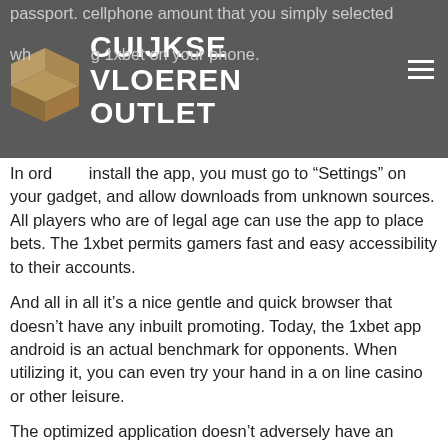CUIJKSE VLOEREN OUTLET (logo/header bar)
passport. cellphone amount that you simply selected when using 1xbet on your phone.
In order to install the app, you must go to “Settings” on your gadget, and allow downloads from unknown sources. All players who are of legal age can use the app to place bets. The 1xbet permits gamers fast and easy accessibility to their accounts.
And all in all it’s a nice gentle and quick browser that doesn’t have any inbuilt promoting. Today, the 1xbet app android is an actual benchmark for opponents. When utilizing it, you can even try your hand in a on line casino or other leisure.
The optimized application doesn’t adversely have an result on the operation of the system as an entire, so other